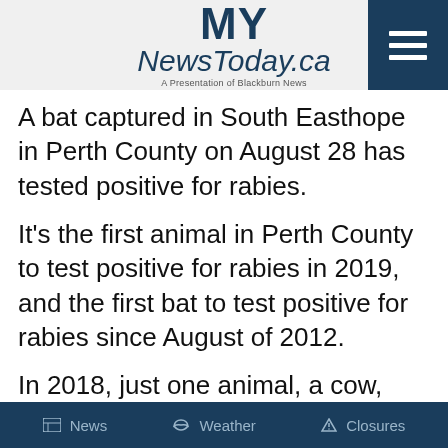MY NewsToday.ca — A Presentation of Blackburn News
A bat captured in South Easthope in Perth County on August 28 has tested positive for rabies.
It's the first animal in Perth County to test positive for rabies in 2019, and the first bat to test positive for rabies since August of 2012.
In 2018, just one animal, a cow, from
News  Weather  Closures